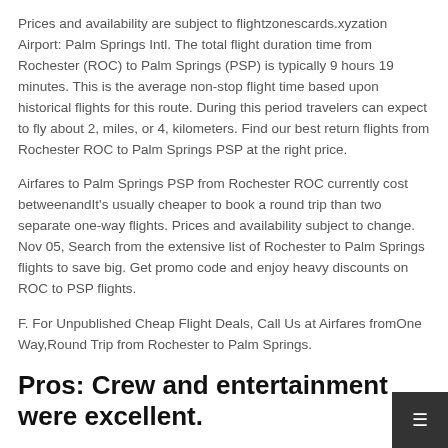Prices and availability are subject to flightzonescards.xyzation Airport: Palm Springs Intl. The total flight duration time from Rochester (ROC) to Palm Springs (PSP) is typically 9 hours 19 minutes. This is the average non-stop flight time based upon historical flights for this route. During this period travelers can expect to fly about 2, miles, or 4, kilometers. Find our best return flights from Rochester ROC to Palm Springs PSP at the right price.
Airfares to Palm Springs PSP from Rochester ROC currently cost betweenandIt's usually cheaper to book a round trip than two separate one-way flights. Prices and availability subject to change. Nov 05, Search from the extensive list of Rochester to Palm Springs flights to save big. Get promo code and enjoy heavy discounts on ROC to PSP flights.
F. For Unpublished Cheap Flight Deals, Call Us at Airfares fromOne Way,Round Trip from Rochester to Palm Springs.
Pros: Crew and entertainment were excellent.